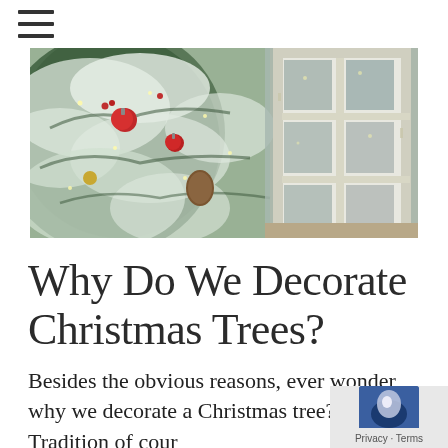≡ (hamburger menu icon)
[Figure (photo): A snow-covered Christmas tree decorated with red ornaments and lights, next to a rustic white window frame with glass panes]
Why Do We Decorate Christmas Trees?
Besides the obvious reasons, ever wonder why we decorate a Christmas tree? Tradition of cour...